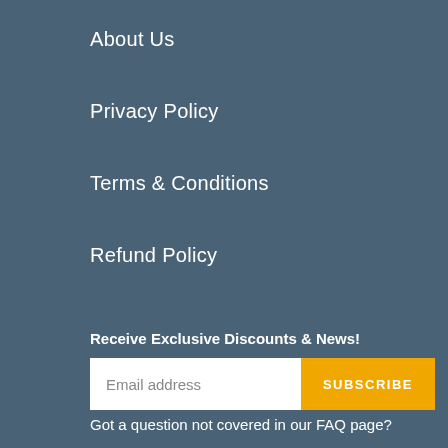About Us
Privacy Policy
Terms & Conditions
Refund Policy
Receive Exclusive Discounts & News!
Email address
SUBSCRIBE
Got a question not covered in our FAQ page?